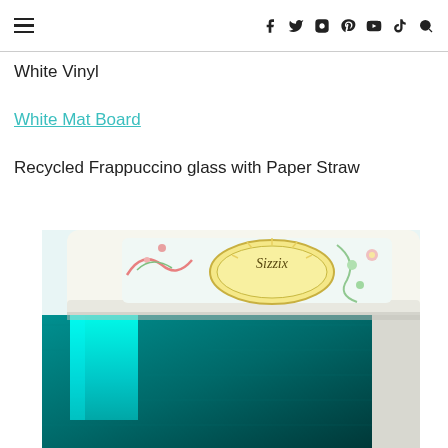≡ social icons: facebook, twitter, instagram, pinterest, youtube, tiktok, search
White Vinyl
White Mat Board
Recycled Frappuccino glass with Paper Straw
[Figure (photo): Close-up photo of a Sizzix die-cutting machine with decorative floral design on the roller, with teal/cyan mat board and vinyl underneath]